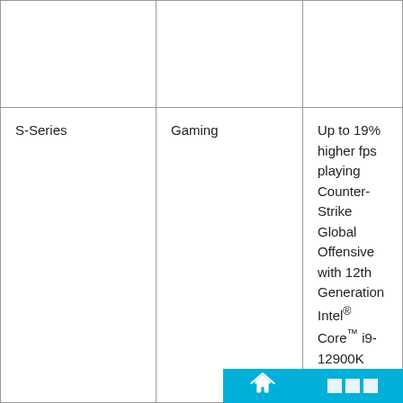|  |  |  |
| S-Series | Gaming | Up to 19% higher fps playing Counter-Strike Global Offensive with 12th Generation Intel® Core™ i9-12900K processor. |